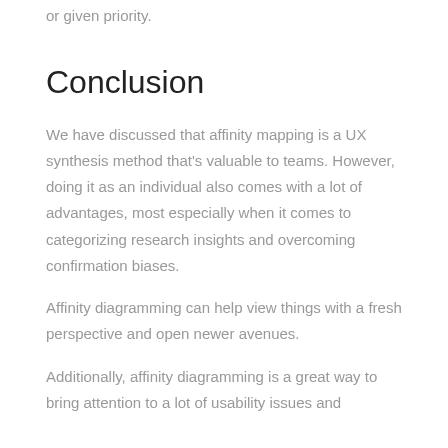or given priority.
Conclusion
We have discussed that affinity mapping is a UX synthesis method that’s valuable to teams. However, doing it as an individual also comes with a lot of advantages, most especially when it comes to categorizing research insights and overcoming confirmation biases.
Affinity diagramming can help view things with a fresh perspective and open newer avenues.
Additionally, affinity diagramming is a great way to bring attention to a lot of usability issues and